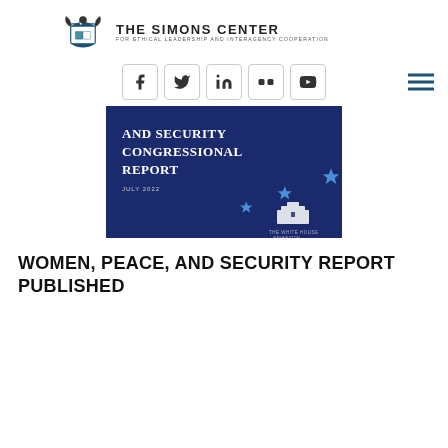THE SIMONS CENTER FOR ETHICAL LEADERSHIP AND INTERAGENCY COOPERATION
[Figure (logo): The Simons Center logo: an eagle crest with books and shield]
[Figure (screenshot): Cover image of the Women, Peace, and Security Congressional Report, July 2022, published by The White House. Dark navy blue background with diagonal arc of blue stars and White House logo.]
WOMEN, PEACE, AND SECURITY REPORT PUBLISHED